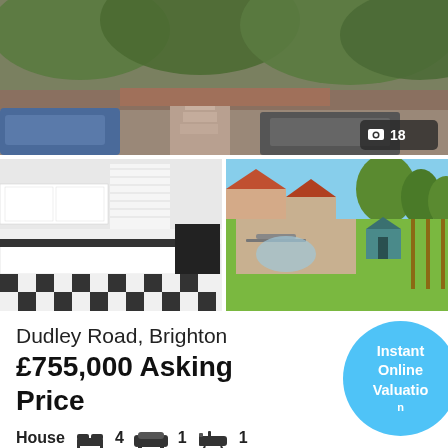[Figure (photo): Aerial/street view photo of a house exterior with cars, brick wall, and greenery]
[Figure (photo): Interior kitchen photo with white cabinets, black countertops, and checkered floor]
[Figure (photo): Garden/backyard photo with outdoor furniture and greenery]
Dudley Road, Brighton
£755,000 Asking Price
House  4  1  1
Robert Luff & Co are delighted to offer to the market this truly unique chalet house situated a short walk from the ever popular Fiveways which offers an array